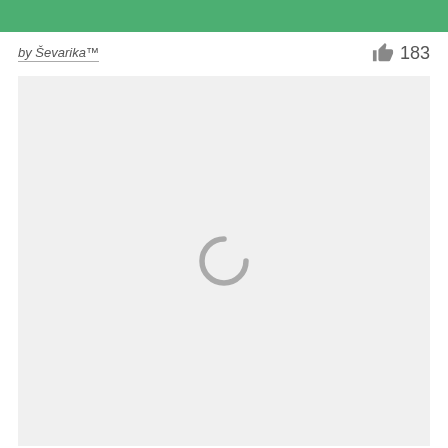[Figure (other): Green header bar]
by Ševarika™
183
[Figure (other): Loading spinner (arc) centered in a light gray content area]